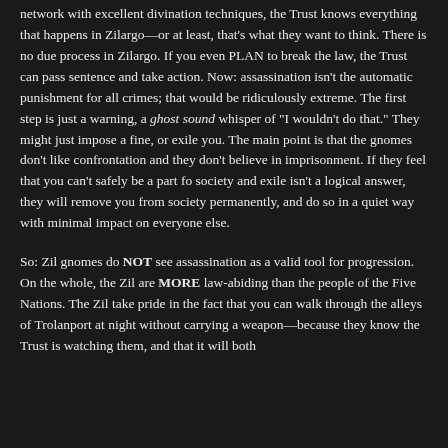network with excellent divination techniques, the Trust knows everything that happens in Zilargo—or at least, that's what they want to think. There is no due process in Zilargo. If you even PLAN to break the law, the Trust can pass sentence and take action. Now: assassination isn't the automatic punishment for all crimes; that would be ridiculously extreme. The first step is just a warning, a ghost sound whisper of "I wouldn't do that." They might just impose a fine, or exile you. The main point is that the gnomes don't like confrontation and they don't believe in imprisonment. If they feel that you can't safely be a part fo society and exile isn't a logical answer, they will remove you from society permanently, and do so in a quiet way with minimal impact on everyone else.
So: Zil gnomes do NOT see assassination as a valid tool for progression. On the whole, the Zil are MORE law-abiding than the people of the Five Nations. The Zil take pride in the fact that you can walk through the alleys of Trolanport at night without carrying a weapon—because they know the Trust is watching them, and that it will both